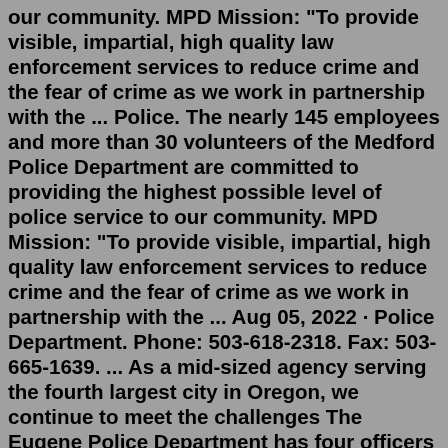our community. MPD Mission: "To provide visible, impartial, high quality law enforcement services to reduce crime and the fear of crime as we work in partnership with the ... Police. The nearly 145 employees and more than 30 volunteers of the Medford Police Department are committed to providing the highest possible level of police service to our community. MPD Mission: "To provide visible, impartial, high quality law enforcement services to reduce crime and the fear of crime as we work in partnership with the ... Aug 05, 2022 · Police Department. Phone: 503-618-2318. Fax: 503-665-1639. ... As a mid-sized agency serving the fourth largest city in Oregon, we continue to meet the challenges The Eugene Police Department has four officers and a sergeant who work with canine partners. Learn More. Community Engagement Team Serving the City of Eugene by empowering the community through proven crime prevention strategies with an emphasis on education to reduce crime and promote safety Free Oregon Police